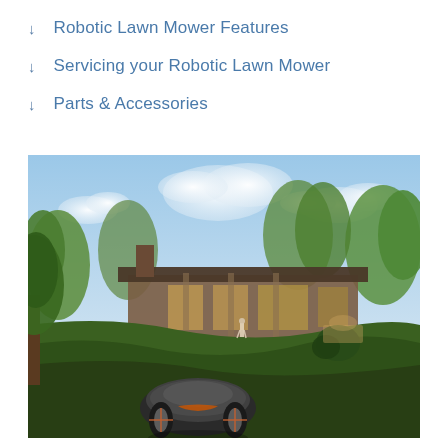↓  Robotic Lawn Mower Features
↓  Servicing your Robotic Lawn Mower
↓  Parts & Accessories
[Figure (photo): A robotic lawn mower on a green lawn in front of a modern single-story house surrounded by trees, with a person walking in the background.]